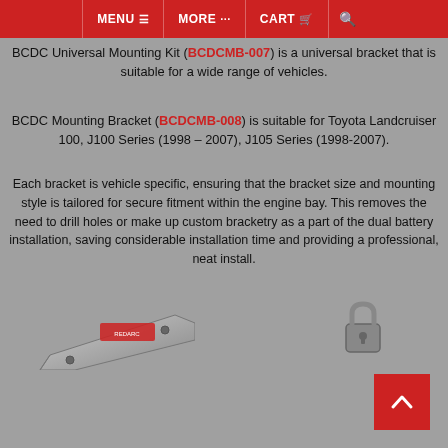MENU | MORE | CART
BCDC Universal Mounting Kit (BCDCMB-007) is a universal bracket that is suitable for a wide range of vehicles.
BCDC Mounting Bracket (BCDCMB-008) is suitable for Toyota Landcruiser 100, J100 Series (1998 – 2007), J105 Series (1998-2007).
Each bracket is vehicle specific, ensuring that the bracket size and mounting style is tailored for secure fitment within the engine bay. This removes the need to drill holes or make up custom bracketry as a part of the dual battery installation, saving considerable installation time and providing a professional, neat install.
[Figure (photo): Photo of a BCDC mounting bracket, a flat metallic bracket with a red label]
[Figure (illustration): Lock/security icon in dark gray]